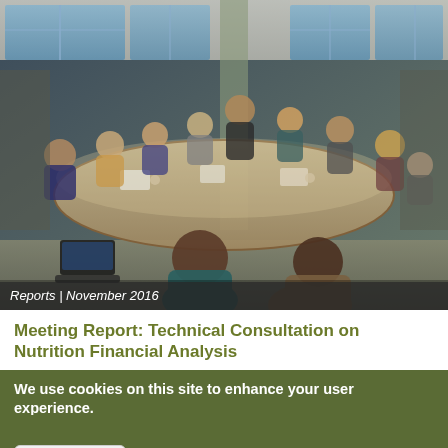[Figure (photo): Group of professionals seated around a large conference table in a modern office, engaged in discussion. Meeting setting with laptops and papers on the table.]
Reports | November 2016
Meeting Report: Technical Consultation on Nutrition Financial Analysis
We use cookies on this site to enhance your user experience.
By clicking any link on this page you are giving your consent for us to set cookies. No, give me more info
OK, I agree